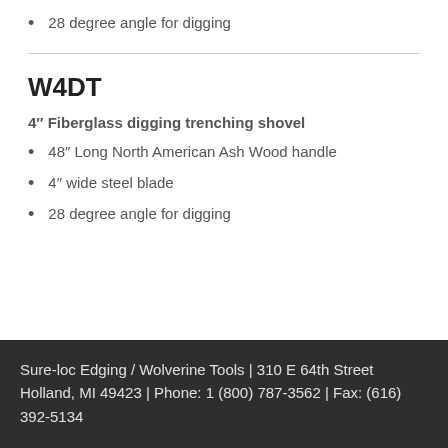28 degree angle for digging
W4DT
4″ Fiberglass digging trenching shovel
48″ Long North American Ash Wood handle
4″ wide steel blade
28 degree angle for digging
Sure-loc Edging / Wolverine Tools | 310 E 64th Street Holland, MI 49423 | Phone: 1 (800) 787-3562 | Fax: (616) 392-5134